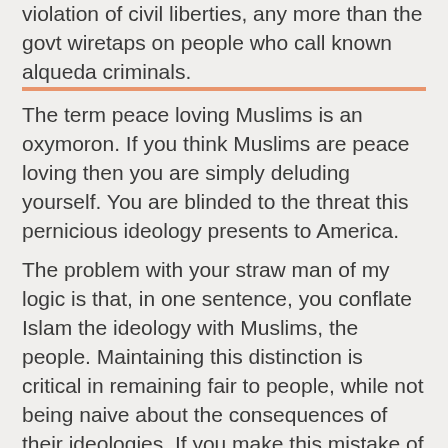violation of civil liberties, any more than the govt wiretaps on people who call known alqueda criminals.
The term peace loving Muslims is an oxymoron. If you think Muslims are peace loving then you are simply deluding yourself. You are blinded to the threat this pernicious ideology presents to America.
The problem with your straw man of my logic is that, in one sentence, you conflate Islam the ideology with Muslims, the people. Maintaining this distinction is critical in remaining fair to people, while not being naive about the consequences of their ideologies. If you make this mistake of conflating the two, then by all means, you will end up with a cruel and fascist approach to Muslims.
While the *ideology* of Islam is pernicious and evil, the *people* are not necessarily so. But the more closely they follow Islam, the more